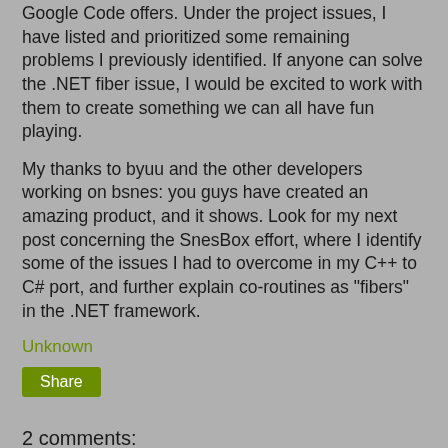Google Code offers.  Under the project issues, I have listed and prioritized some remaining problems I previously identified.  If anyone can solve the .NET fiber issue, I would be excited to work with them to create something we can all have fun playing.
My thanks to byuu and the other developers working on bsnes: you guys have created an amazing product, and it shows.  Look for my next post concerning the SnesBox effort, where I identify some of the issues I had to overcome in my C++ to C# port, and further explain co-routines as "fibers" in the .NET framework.
Unknown
Share
2 comments:
Unknown March 23, 2011 at 5:55 PM
The Mono runtime supports fibers and coroutines directly. You can embed it in a tiny C++ launcher to simplify deployment.